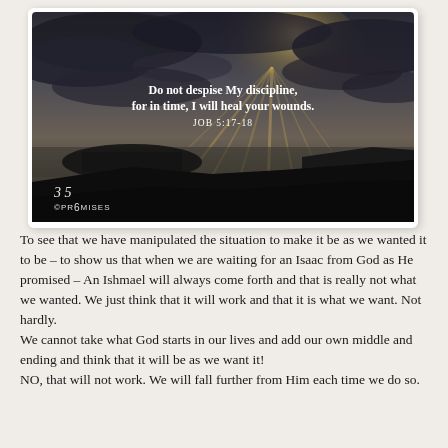[Figure (photo): Dramatic coastal landscape with dark rocks and sea cliffs silhouetted against a stormy sky with sunrays breaking through clouds. White text overlay reads 'Do not despise My discipline, for in time, I will heal your wounds. JOB 5:17-18'. Logo '365 PROMISES' in bottom left.]
To see that we have manipulated the situation to make it be as we wanted it to be – to show us that when we are waiting for an Isaac from God as He promised – An Ishmael will always come forth and that is really not what we wanted. We just think that it will work and that it is what we want. Not hardly.
We cannot take what God starts in our lives and add our own middle and ending and think that it will be as we want it!
NO, that will not work. We will fall further from Him each time we do so.